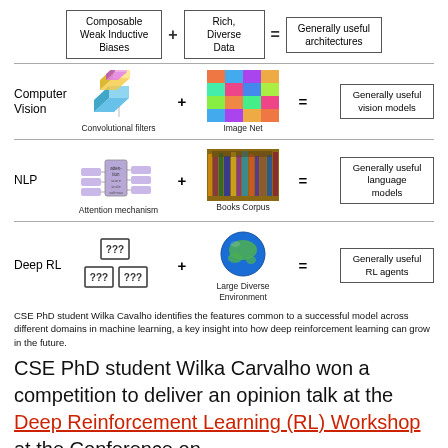[Figure (infographic): Infographic showing: Composable Weak Inductive Biases + Rich, Diverse Data = Generally useful architectures. Three rows: Computer Vision (Convolutional filters + ImageNet = Generally useful vision models), NLP (Attention mechanism + Books Corpus = Generally useful language models), Deep RL (??? blocks + Large Diverse Environment = Generally useful RL agents).]
CSE PhD student Wilka Cavalho identifies the features common to a successful model across different domains in machine learning, a key insight into how deep reinforcement learning can grow in the future.
CSE PhD student Wilka Carvalho won a competition to deliver an opinion talk at the Deep Reinforcement Learning (RL) Workshop at the Conference on